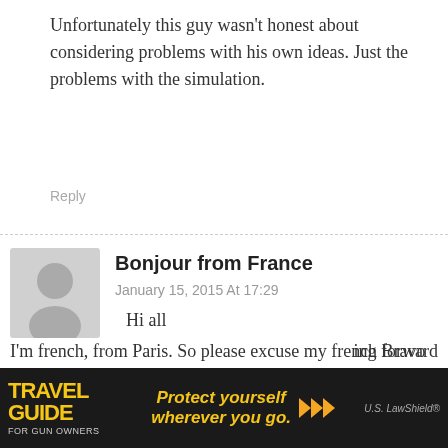Unfortunately this guy wasn't honest about considering problems with his own ideas. Just the problems with the simulation.
Reply
Bonjour from France
January 15, 2015 At 17:29
Hi all
I'm french, from Paris. So please excuse my french Bravo for this wonderful fiction and thanks a lot for your efforts to bring us solutions. I think it's not really a good idea that french people should wear fire guns. Not right now. Also, that's never been the french way. I heard Terminator just subscribed to Charlie Hebdo,
[Figure (advertisement): Travel Guide for Gun Owners ad banner with text 'Protect yourself wherever you go.' and US LawShield branding]
ing forward